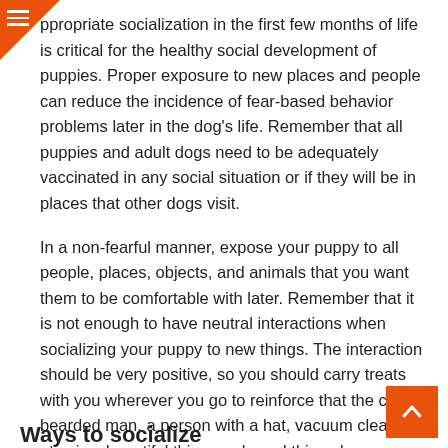☰ (menu icon)
ppropriate socialization in the first few months of life is critical for the healthy social development of puppies. Proper exposure to new places and people can reduce the incidence of fear-based behavior problems later in the dog's life. Remember that all puppies and adult dogs need to be adequately vaccinated in any social situation or if they will be in places that other dogs visit.
In a non-fearful manner, expose your puppy to all people, places, objects, and animals that you want them to be comfortable with later. Remember that it is not enough to have neutral interactions when socializing your puppy to new things. The interaction should be very positive, so you should carry treats with you wherever you go to reinforce that the child, bearded man, a person with a hat, vacuum cleaner, etc., is a beautiful thing, and good things happen when they are around.
Ways to socialize